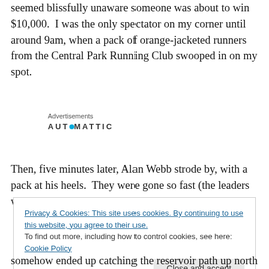seemed blissfully unaware someone was about to win $10,000.  I was the only spectator on my corner until around 9am, when a pack of orange-jacketed runners from the Central Park Running Club swooped in on my spot.
Advertisements
[Figure (logo): Automattic logo with circular dot replacing the 'o']
Then, five minutes later, Alan Webb strode by, with a pack at his heels.  They were gone so fast (the leaders were
Privacy & Cookies: This site uses cookies. By continuing to use this website, you agree to their use.
To find out more, including how to control cookies, see here: Cookie Policy
Close and accept
somehow ended up catching the reservoir path up north